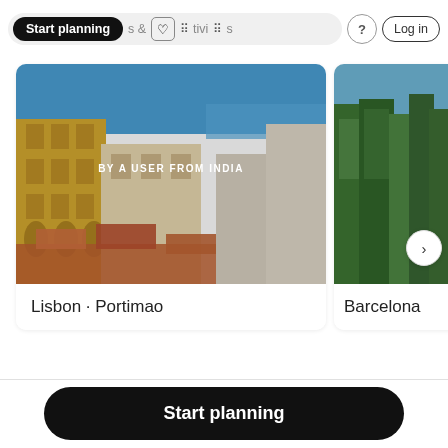[Figure (screenshot): Navigation bar with Start planning pill button, heart/grid icons, question mark button, and Log in button]
[Figure (photo): Photo of Lisbon/Portimao colorful buildings with orange rooftops and ocean in background, with text BY A USER FROM INDIA overlaid]
Lisbon · Portimao
[Figure (photo): Partial photo of Barcelona showing green trees]
Barcelona
Start planning